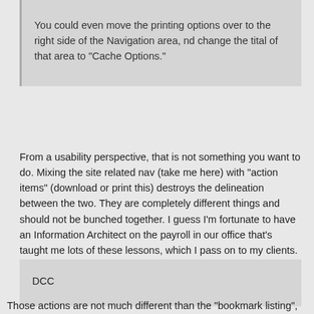You could even move the printing options over to the right side of the Navigation area, nd change the tital of that area to "Cache Options."
From a usability perspective, that is not something you want to do. Mixing the site related nav (take me here) with "action items" (download or print this) destroys the delineation between the two. They are completely different things and should not be bunched together. I guess I'm fortunate to have an Information Architect on the payroll in our office that's taught me lots of these lessons, which I pass on to my clients.
DCC
Those actions are not much different than the "bookmark listing", "ignore listing" and "watch listing" links already on the right. Those are actions as well... not really "take me here" links. Clicking on the "send to phone" button goes to a page to enter some info before you can continue... kind of like "bookmark listing". They are all ways to interact with the cache